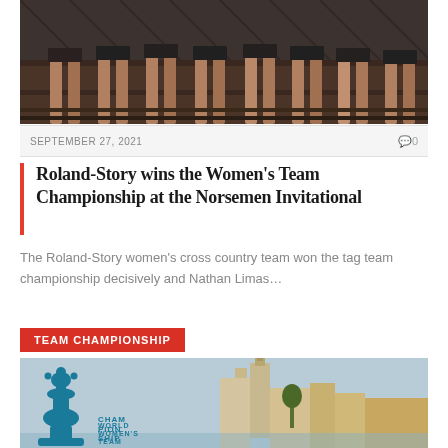[Figure (photo): Group photo showing legs of athletes standing on a wooden platform with metal railing/fence behind them]
SEPTEMBER 27, 2021    0
Roland-Story wins the Women's Team Championship at the Norsemen Invitational
The Roland-Story women's cross country team won the tag team championship decisively and Nathan Limas…
TEAM CHAMPIONSHIP
[Figure (photo): World Women's Team Championship promo image with chess queen piece silhouette and cityscape background]